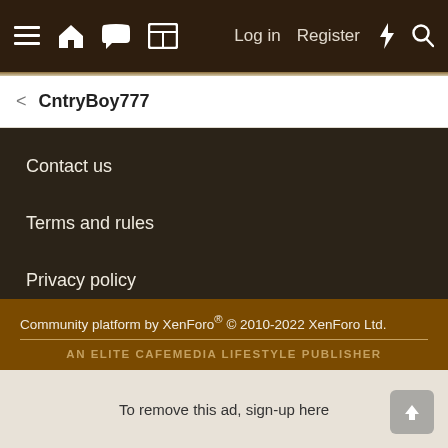≡ 🏠 💬 ▦  Log in  Register ⚡ 🔍
< CntryBoy777
Contact us
Terms and rules
Privacy policy
Help
Home
RSS icon
Community platform by XenForo® © 2010-2022 XenForo Ltd. AN ELITE CAFEMEDIA LIFESTYLE PUBLISHER To remove this ad, sign-up here